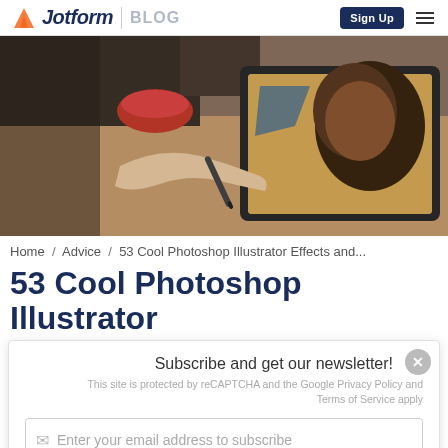Jotform | BLOG — Sign Up
[Figure (photo): Person drawing on a tablet with a stylus, illustrated artwork visible on screen, warm indoor setting]
Home / Advice / 53 Cool Photoshop Illustrator Effects and...
53 Cool Photoshop Illustrator
Subscribe and get our newsletter!
This site is protected by reCAPTCHA and the Google Privacy Policy and Terms of Service apply
Enter your email address to subscribe
Subscribe Now